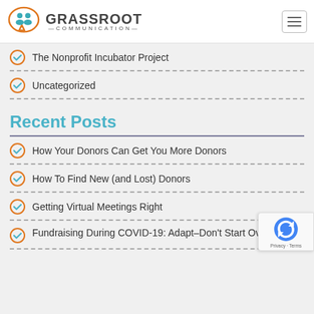Grassroot Communication
The Nonprofit Incubator Project
Uncategorized
Recent Posts
How Your Donors Can Get You More Donors
How To Find New (and Lost) Donors
Getting Virtual Meetings Right
Fundraising During COVID-19: Adapt–Don't Start Over